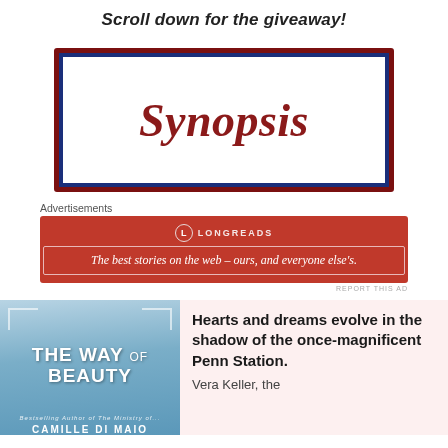Scroll down for the giveaway!
[Figure (other): Synopsis banner with dark red outer border, dark blue middle border, white inner area, and red cursive 'Synopsis' text]
Advertisements
[Figure (other): Longreads advertisement banner — red background with logo and tagline: The best stories on the web – ours, and everyone else's.]
REPORT THIS AD
[Figure (other): Book cover of 'The Way of Beauty' by Camille Di Maio — light blue background with white title text and woman in hat]
Hearts and dreams evolve in the shadow of the once-magnificent Penn Station. Vera Keller, the